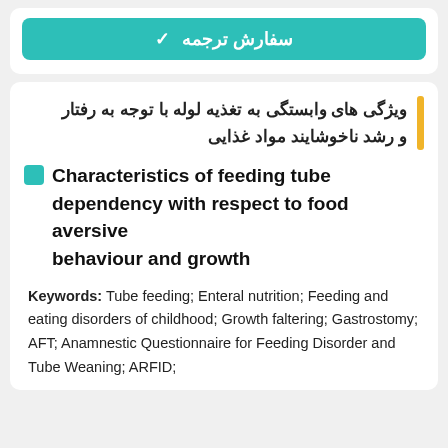✓ سفارش ترجمه
ویژگی های وابستگی به تغذیه لوله با توجه به رفتار و رشد ناخوشایند مواد غذایی
Characteristics of feeding tube dependency with respect to food aversive behaviour and growth
Keywords: Tube feeding; Enteral nutrition; Feeding and eating disorders of childhood; Growth faltering; Gastrostomy; AFT; Anamnestic Questionnaire for Feeding Disorder and Tube Weaning; ARFID;